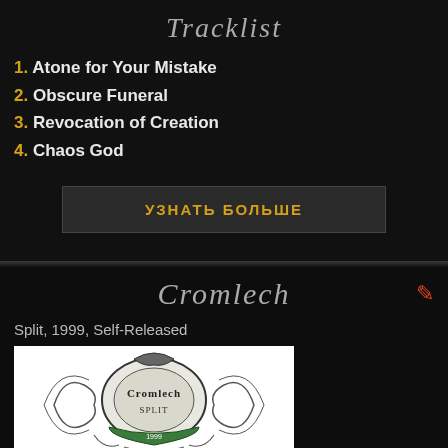Tracklist
1. Atone for Your Mistake
2. Obscure Funeral
3. Revocation of Creation
4. Chaos God
УЗНАТЬ БОЛЬШЕ
Cromlech
Split, 1999, Self-Released
[Figure (logo): Cromlech band logo / album art on white background with ornate metallic emblem]